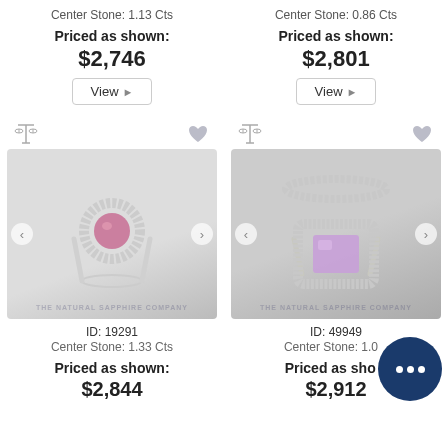Center Stone: 1.13 Cts
Priced as shown:
$2,746
View
Center Stone: 0.86 Cts
Priced as shown:
$2,801
View
[Figure (photo): Pink round sapphire halo engagement ring on white background, The Natural Sapphire Company watermark]
ID: 19291
Center Stone: 1.33 Cts
Priced as shown:
$2,844
[Figure (photo): Lavender cushion-cut sapphire double halo engagement ring set on white background, The Natural Sapphire Company watermark]
ID: 49949
Center Stone: 1.0...
Priced as sho...
$2,912